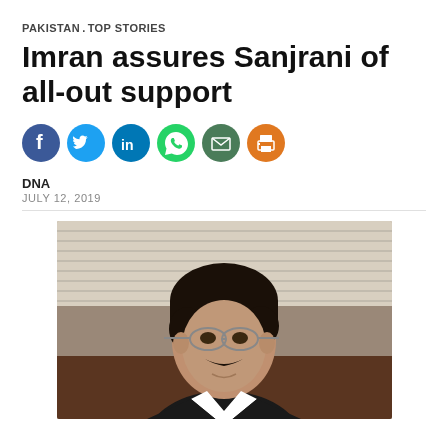PAKISTAN TOP STORIES
Imran assures Sanjrani of all-out support
[Figure (other): Social media sharing icons: Facebook (blue), Twitter (blue), LinkedIn (blue), WhatsApp (green), Email (dark green/olive), Print (orange)]
DNA
JULY 12, 2019
[Figure (photo): Portrait photo of a man (Sadiq Sanjrani) with dark hair, mustache, wearing glasses and a dark suit, seated in front of window blinds and a wooden background.]